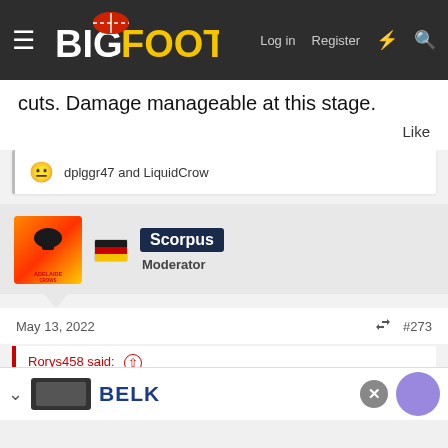BigFooty — Log in | Register
cuts. Damage manageable at this stage.
Like
dplggr47 and LiquidCrow
Scorpus
Moderator
May 13, 2022  #273
Rorys458 said:
Gore has requested a trade to Fremantle. Death by